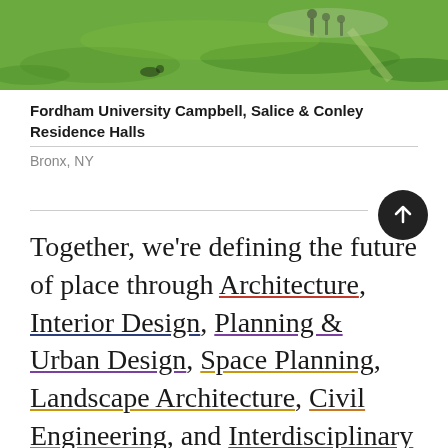[Figure (photo): Outdoor green lawn area at Fordham University campus, with people walking in background]
Fordham University Campbell, Salice & Conley Residence Halls
Bronx, NY
Together, we're defining the future of place through Architecture, Interior Design, Planning & Urban Design, Space Planning, Landscape Architecture, Civil Engineering, and Interdisciplinary Expertise.